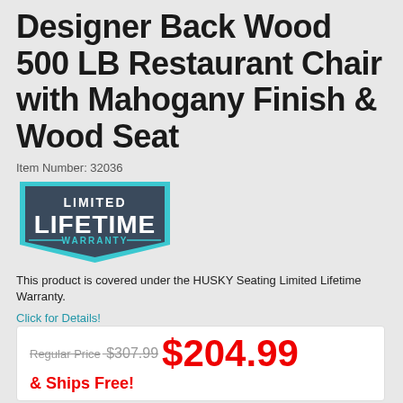Designer Back Wood 500 LB Restaurant Chair with Mahogany Finish & Wood Seat
Item Number: 32036
[Figure (logo): Limited Lifetime Warranty badge — dark grey shield shape with cyan border, text reads LIMITED LIFETIME WARRANTY]
This product is covered under the HUSKY Seating Limited Lifetime Warranty.
Click for Details!
Regular Price $307.99  $204.99
& Ships Free!